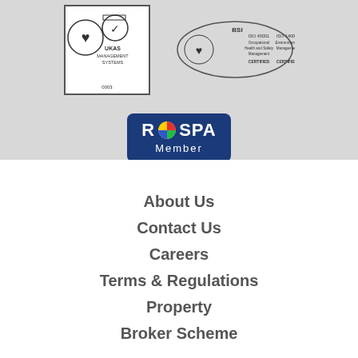[Figure (logo): UKAS Management Systems certification badge with heart logo, number 0003]
[Figure (logo): BSI ISO 45001 Occupational Health and Safety and ISO 14001 Environmental Management certification badges]
[Figure (logo): RoSPA Member badge with colorful circular logo]
About Us
Contact Us
Careers
Terms & Regulations
Property
Broker Scheme